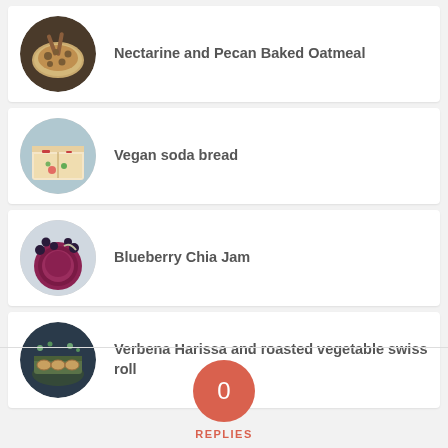Nectarine and Pecan Baked Oatmeal
Vegan soda bread
Blueberry Chia Jam
Verbena Harissa and roasted vegetable swiss roll
0 REPLIES